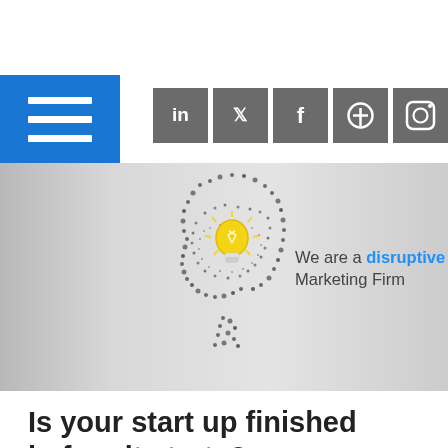[Figure (other): Blue hamburger/menu button with three white horizontal lines]
[Figure (other): Social media icons row: LinkedIn, Twitter, Facebook, Pinterest, Instagram — grey square buttons with white icons]
[Figure (illustration): Hero banner with a particle/dot art silhouette of a human head with a glowing yellow lightbulb inside. Text reads: We are a disruptive Marketing Firm]
Is your start up finished before it starts?
Turn your start up idea into flourishing business strategy.
Like it or not, a good business does not just rely on good products or services. The success of your start up will be built